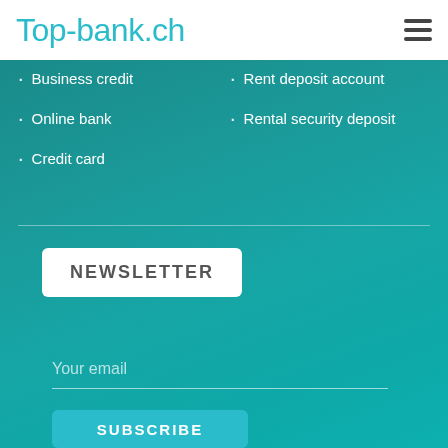Top-bank.ch
Business credit
Online bank
Credit card
Rent deposit account
Rental security deposit
NEWSLETTER
Your email
SUBSCRIBE